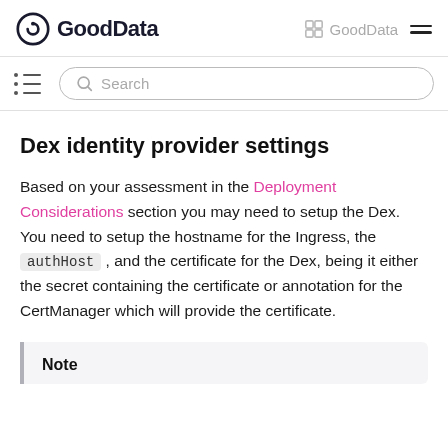GoodData | GoodData
Dex identity provider settings
Based on your assessment in the Deployment Considerations section you may need to setup the Dex. You need to setup the hostname for the Ingress, the authHost , and the certificate for the Dex, being it either the secret containing the certificate or annotation for the CertManager which will provide the certificate.
Note